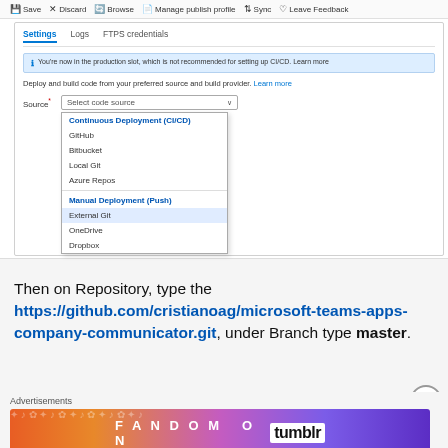[Figure (screenshot): Azure App Service deployment settings screenshot showing Settings/Logs/FTPS credentials tabs, an info banner about production slot, deploy and build code section, a Source dropdown with options: Continuous Deployment (CI/CD), GitHub, Bitbucket, Local Git, Azure Repos, Manual Deployment (Push), External Git (highlighted), OneDrive, Dropbox]
Then on Repository, type the https://github.com/cristianoag/microsoft-teams-apps-company-communicator.git, under Branch type master.
[Figure (screenshot): Fandom on Tumblr advertisement banner with colorful gradient background]
Advertisements